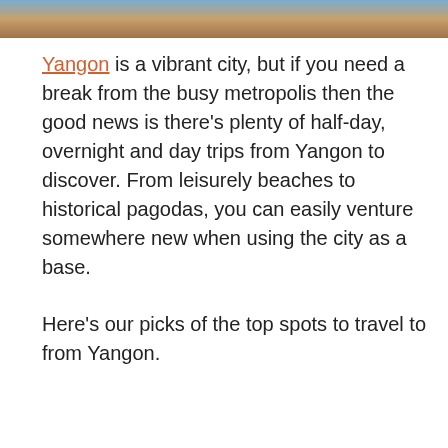[Figure (photo): Partial photo strip at top of page showing outdoor scene with blue sky, orange/brown earthy tones]
Yangon is a vibrant city, but if you need a break from the busy metropolis then the good news is there's plenty of half-day, overnight and day trips from Yangon to discover. From leisurely beaches to historical pagodas, you can easily venture somewhere new when using the city as a base.
Here's our picks of the top spots to travel to from Yangon.